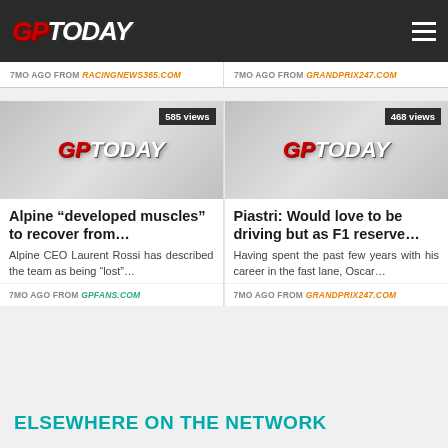GPToday
7MO AGO FROM RACINGNEWS365.COM
7MO AGO FROM GRANDPRIX247.COM
[Figure (photo): GPToday logo placeholder image with 585 views badge]
[Figure (photo): GPToday logo placeholder image with 468 views badge]
Alpine “developed muscles” to recover from…
Alpine CEO Laurent Rossi has described the team as being "lost"...
Piastri: Would love to be driving but as F1 reserve…
Having spent the past few years with his career in the fast lane, Oscar...
7MO AGO FROM GPFANS.COM
7MO AGO FROM GRANDPRIX247.COM
ELSEWHERE ON THE NETWORK